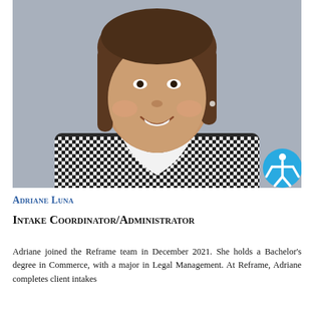[Figure (photo): Professional headshot of Adriane Luna, a young woman with shoulder-length brown hair, smiling, wearing a black and white houndstooth patterned top with a white collar. Background is gray.]
Adriane Luna
Intake Coordinator/Administrator
Adriane joined the Reframe team in December 2021. She holds a Bachelor's degree in Commerce, with a major in Legal Management. At Reframe, Adriane completes client intakes